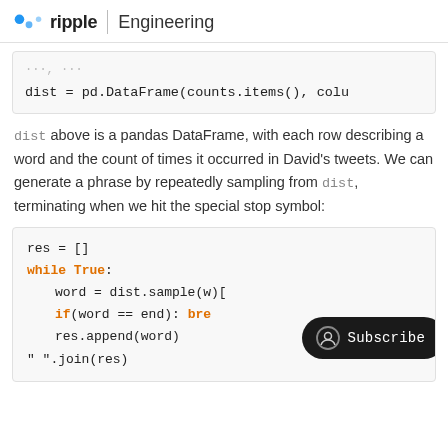ripple | Engineering
[Figure (screenshot): Code snippet showing: dist = pd.DataFrame(counts.items(), colu]
dist above is a pandas DataFrame, with each row describing a word and the count of times it occurred in David's tweets. We can generate a phrase by repeatedly sampling from dist, terminating when we hit the special stop symbol:
[Figure (screenshot): Code snippet: res = [] / while True: / word = dist.sample(w...) [...] / if(word == end): bre... / res.append(word) / " ".join(res)]